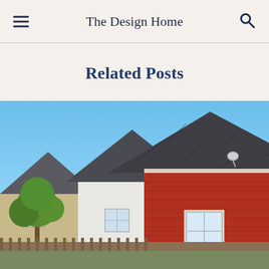The Design Home
Related Posts
[Figure (photo): Exterior photograph of suburban houses: a red-sided house in the foreground with a dark grey shingle roof and white-trimmed window, a white house behind it, a beige house to the left, a tree in the left background, a wooden fence along the bottom, and a clear blue sky above.]